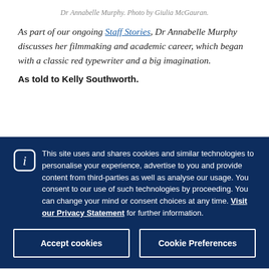Dr Annabelle Murphy. Photo by Giulia McGauran.
As part of our ongoing Staff Stories, Dr Annabelle Murphy discusses her filmmaking and academic career, which began with a classic red typewriter and a big imagination.
As told to Kelly Southworth.
This site uses and shares cookies and similar technologies to personalise your experience, advertise to you and provide content from third-parties as well as analyse our usage. You consent to our use of such technologies by proceeding. You can change your mind or consent choices at any time. Visit our Privacy Statement for further information.